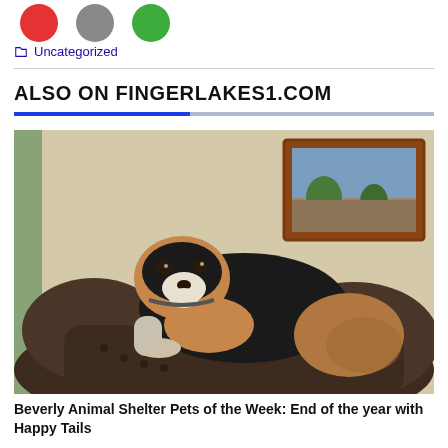[Figure (illustration): Three colored circles: red, gray, and green at the top of the page]
Uncategorized
ALSO ON FINGERLAKES1.COM
[Figure (photo): A small dog (pug mix) resting on a dark leather couch armrest, with a framed picture on the wall behind it and a green curtain visible on the left.]
Beverly Animal Shelter Pets of the Week: End of the year with Happy Tails